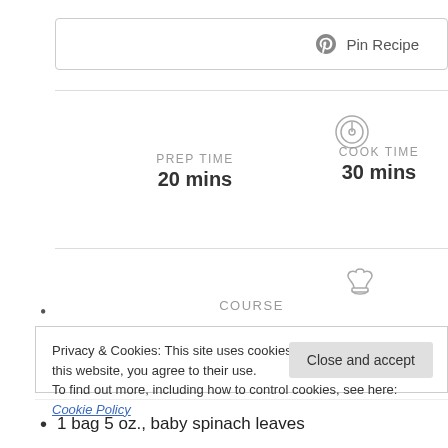[Figure (other): Pinterest Pin Recipe button with Pinterest logo icon]
[Figure (other): Timer/clock icon above COOK TIME section]
PREP TIME
20 mins
COOK TIME
30 mins
[Figure (other): Chef hat icon above COURSE section]
COURSE
Privacy & Cookies: This site uses cookies. By continuing to use this website, you agree to their use.
To find out more, including how to control cookies, see here: Cookie Policy
1 bag 5 oz., baby spinach leaves